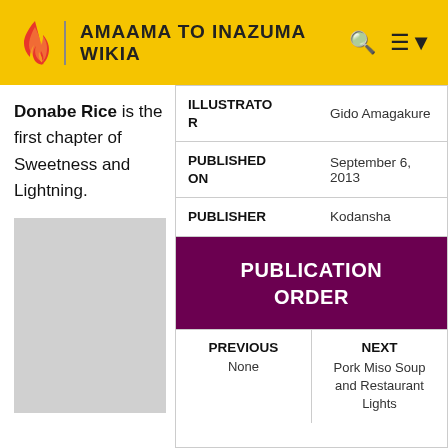AMAAMA TO INAZUMA WIKIA
Donabe Rice is the first chapter of Sweetness and Lightning.
| Field | Value |
| --- | --- |
| ILLUSTRATOR | Gido Amagakure |
| PUBLISHED ON | September 6, 2013 |
| PUBLISHER | Kodansha |
PUBLICATION ORDER
| PREVIOUS | NEXT |
| --- | --- |
| None | Pork Miso Soup and Restaurant Lights |